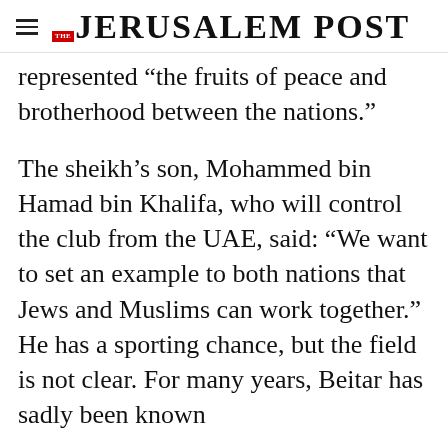THE JERUSALEM POST
represented “the fruits of peace and brotherhood between the nations.”
The sheikh’s son, Mohammed bin Hamad bin Khalifa, who will control the club from the UAE, said: “We want to set an example to both nations that Jews and Muslims can work together.” He has a sporting chance, but the field is not clear. For many years, Beitar has sadly been known
Advertisement